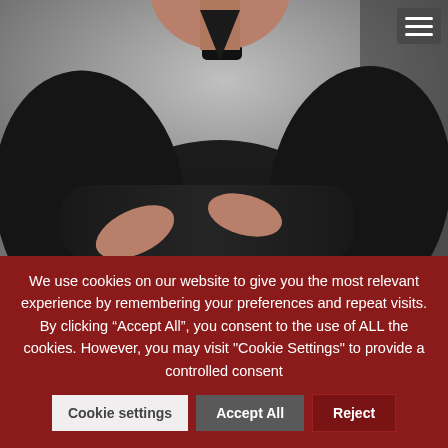[Figure (photo): Photo of a person in a dark black suit with arms crossed, shown from chest/torso level, against a grey background. A hamburger menu icon is visible in the top right corner.]
We use cookies on our website to give you the most relevant experience by remembering your preferences and repeat visits. By clicking “Accept All”, you consent to the use of ALL the cookies. However, you may visit "Cookie Settings" to provide a controlled consent
Cookie settings
Accept All
Reject